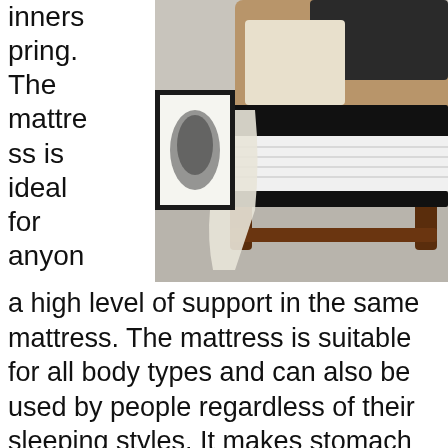innerspring. The mattress is ideal for anyone looking for both comfort and
[Figure (photo): A mattress on a wooden bed frame in a bedroom setting, with a tan upholstered headboard, dark and cream pillows, and a framed black-and-white artwork on the wall. The mattress has a black border and white ribbed middle section.]
a high level of support in the same mattress. The mattress is suitable for all body types and can also be used by people regardless of their sleeping styles. It makes stomach sleepers, back sleepers, and side sleepers very comfortable and...